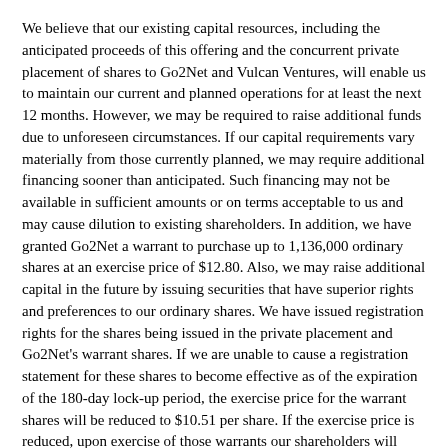We believe that our existing capital resources, including the anticipated proceeds of this offering and the concurrent private placement of shares to Go2Net and Vulcan Ventures, will enable us to maintain our current and planned operations for at least the next 12 months. However, we may be required to raise additional funds due to unforeseen circumstances. If our capital requirements vary materially from those currently planned, we may require additional financing sooner than anticipated. Such financing may not be available in sufficient amounts or on terms acceptable to us and may cause dilution to existing shareholders. In addition, we have granted Go2Net a warrant to purchase up to 1,136,000 ordinary shares at an exercise price of $12.80. Also, we may raise additional capital in the future by issuing securities that have superior rights and preferences to our ordinary shares. We have issued registration rights for the shares being issued in the private placement and Go2Net's warrant shares. If we are unable to cause a registration statement for these shares to become effective as of the expiration of the 180-day lock-up period, the exercise price for the warrant shares will be reduced to $10.51 per share. If the exercise price is reduced, upon exercise of those warrants our shareholders will experience additional dilution, as more shares will be issued for less consideration.
IF WE OR ANY OF OUR VENDORS DO NOT ADEQUATELY ADDRESS "YEAR 2000" ISSUES, WE MAY INCUR